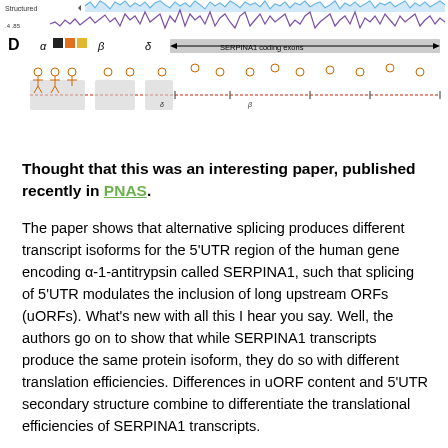[Figure (other): Panel D from a scientific figure showing a genomic region visualization. Top portion shows structured RNA tracks (blue waveform labeled 'Structured'), a purple signal track with values '.4 .85', and a genomic annotation track labeled 'SERPINA1 coding exons' with an arrow spanning rightward. Below are transcript isoform diagrams labeled with Greek letters alpha, beta, delta, showing various transcript structures with small human figure icons indicating uORF positions. Color legend shows black, orange, and yellow squares.]
Thought that this was an interesting paper, published recently in PNAS.
The paper shows that alternative splicing produces different transcript isoforms for the 5'UTR region of the human gene encoding α-1-antitrypsin called SERPINA1, such that splicing of 5'UTR modulates the inclusion of long upstream ORFs (uORFs). What's new with all this I hear you say. Well, the authors go on to show that while SERPINA1 transcripts produce the same protein isoform, they do so with different translation efficiencies. Differences in uORF content and 5'UTR secondary structure combine to differentiate the translational efficiencies of SERPINA1 transcripts.